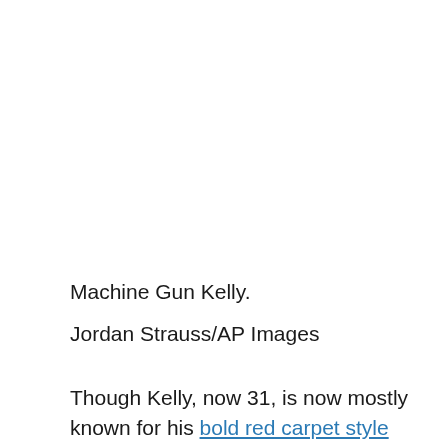[Figure (photo): Photo of Machine Gun Kelly (image area at top of page, content not visible in this crop)]
Machine Gun Kelly.
Jordan Strauss/AP Images
Though Kelly, now 31, is now mostly known for his bold red carpet style alongside fiancé